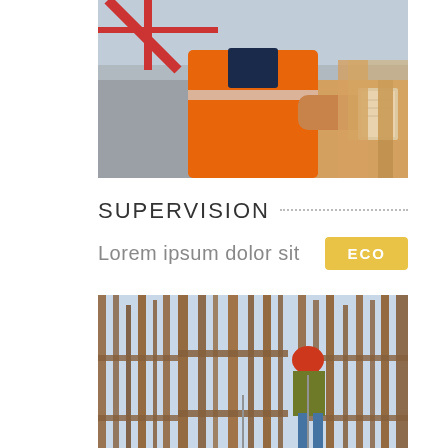[Figure (photo): Construction site supervisor wearing orange safety vest and hard hat, holding a clipboard or tablet at a building site]
SUPERVISION
Lorem ipsum dolor sit
[Figure (photo): Construction workers in red hard hats climbing tall steel rebar framework at a construction site against a blue sky]